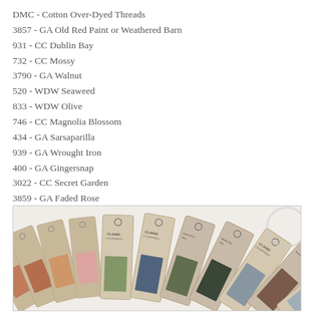DMC - Cotton Over-Dyed Threads
3857 - GA Old Red Paint or Weathered Barn
931 - CC Dublin Bay
732 - CC Mossy
3790 - GA Walnut
520 - WDW Seaweed
833 - WDW Olive
746 - CC Magnolia Blossom
434 - GA Sarsaparilla
939 - GA Wrought Iron
400 - GA Gingersnap
3022 - CC Secret Garden
3859 - GA Faded Rose
840 - CC Brown Hen
[Figure (photo): Photo of multiple embroidery thread skeins on cardstock tags labeled Classic Colorworks and Weeks Dye Wks, fanned out showing various colors including greens, browns, pinks, blues, and neutrals.]